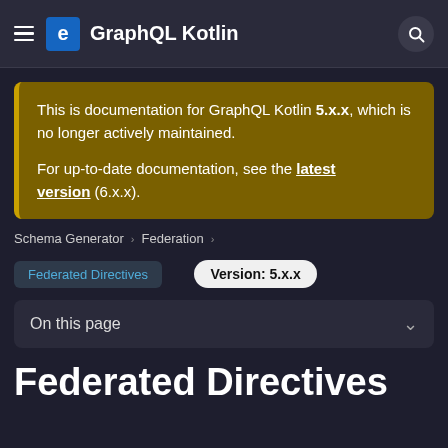GraphQL Kotlin
This is documentation for GraphQL Kotlin 5.x.x, which is no longer actively maintained.

For up-to-date documentation, see the latest version (6.x.x).
Schema Generator > Federation > Federated Directives
Version: 5.x.x
On this page
Federated Directives